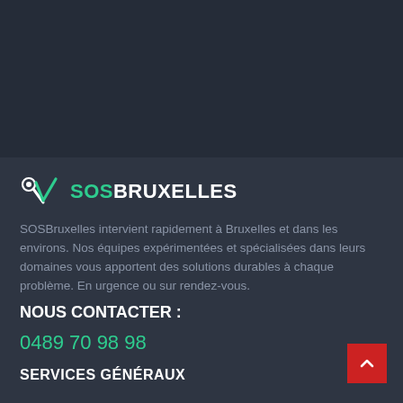[Figure (logo): SOSBruxelles logo with wrench/checkmark icon and text 'SOS' in green and 'BRUXELLES' in white]
SOSBruxelles intervient rapidement à Bruxelles et dans les environs. Nos équipes expérimentées et spécialisées dans leurs domaines vous apportent des solutions durables à chaque problème. En urgence ou sur rendez-vous.
NOUS CONTACTER :
0489 70 98 98
SERVICES GÉNÉRAUX